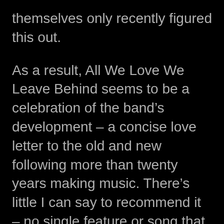themselves only recently figured this out.
As a result, All We Love We Leave Behind seems to be a celebration of the band’s development – a concise love letter to the old and new following more than twenty years making music. There’s little I can say to recommend it – no single feature or song that stands out as the album’s defining moment – the whole thing simply shines as the result of the group's collective experience in the industry; a well-aged bottle of hardcore, if you will; more intoxicating than ever before.
Sometimes, that’s all it takes.